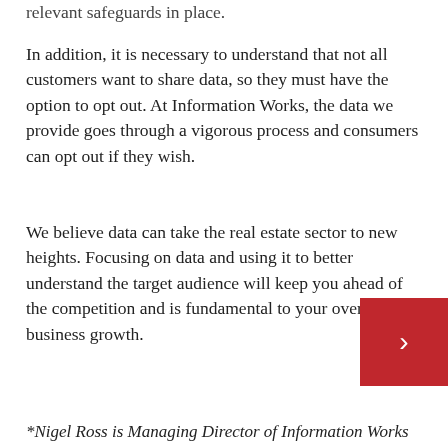relevant safeguards in place.
In addition, it is necessary to understand that not all customers want to share data, so they must have the option to opt out. At Information Works, the data we provide goes through a vigorous process and consumers can opt out if they wish.
We believe data can take the real estate sector to new heights. Focusing on data and using it to better understand the target audience will keep you ahead of the competition and is fundamental to your overall business growth.
*Nigel Ross is Managing Director of Information Works